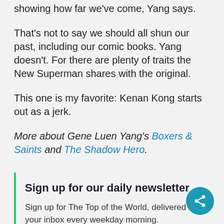showing how far we've come, Yang says.
That's not to say we should all shun our past, including our comic books. Yang doesn't. For there are plenty of traits the New Superman shares with the original.
This one is my favorite: Kenan Kong starts out as a jerk.
More about Gene Luen Yang's Boxers & Saints and The Shadow Hero.
Sign up for our daily newsletter
Sign up for The Top of the World, delivered to your inbox every weekday morning.
Email Address